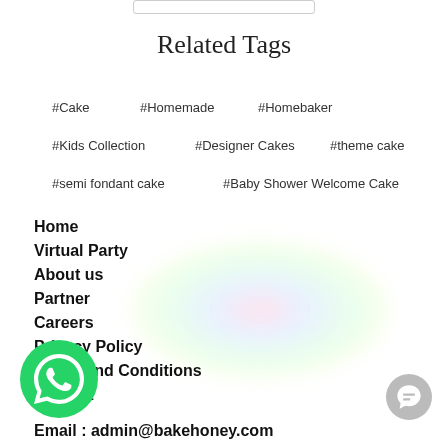Related Tags
#Cake   #Homemade   #Homebaker
#Kids Collection   #Designer Cakes   #theme cake
#semi fondant cake   #Baby Shower Welcome Cake
Home
Virtual Party
About us
Partner
Careers
Privacy Policy
Terms and Conditions
Contact
Email : admin@bakehoney.com